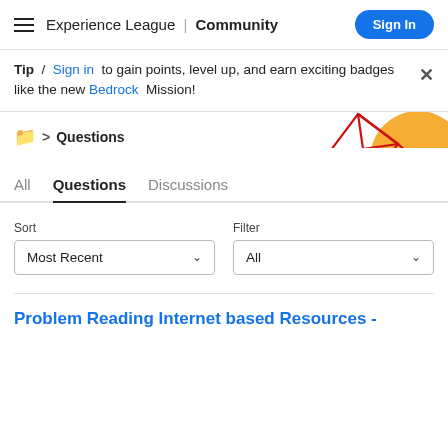Experience League | Community  Sign In
Tip / Sign in to gain points, level up, and earn exciting badges like the new Bedrock Mission!
> Questions
[Figure (illustration): Decorative geometric illustration with red triangular lines and an orange circle]
All  Questions  Discussions
Sort: Most Recent   Filter: All
Problem Reading Internet based Resources -